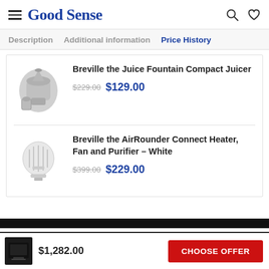Good Sense
Description   Additional information   Price History
[Figure (photo): Breville Juice Fountain Compact Juicer product image - silver juicer with container]
Breville the Juice Fountain Compact Juicer
$229.00  $129.00
[Figure (photo): Breville AirRounder Connect Heater product image - white round fan/heater device]
Breville the AirRounder Connect Heater, Fan and Purifier – White
$399.00  $229.00
[Figure (photo): Small black oven product image]
$1,282.00
CHOOSE OFFER